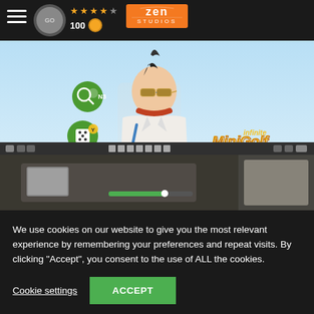[Figure (screenshot): Zen Studios website header with menu icon, coin badge, star rating (4 stars), coin count (100), and Zen Studios logo on dark background]
[Figure (screenshot): Infinite MiniGolf game screenshot showing character customization screen with a punk-styled character wearing sunglasses, various eyewear options displayed in a grid, and a game level editor view below]
We use cookies on our website to give you the most relevant experience by remembering your preferences and repeat visits. By clicking “Accept”, you consent to the use of ALL the cookies.
Cookie settings
ACCEPT